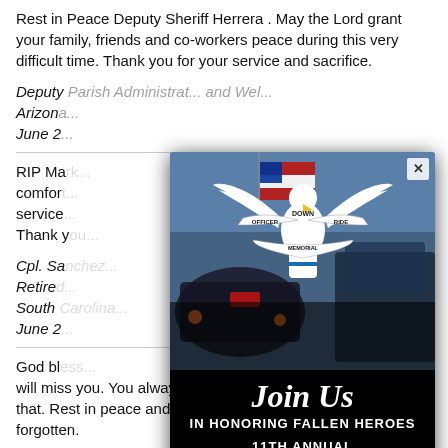Rest in Peace Deputy Sheriff Herrera . May the Lord grant your family, friends and co-workers peace during this very difficult time. Thank you for your service and sacrifice.
Deputy [Parish Administrator] and [Welcome] Arizona... June 2...
RIP Ma... comfort... service... Thank y...
Cpl. Sa... Retired... South c... June 2...
[Figure (other): Officer Down Memorial Ride popup advertisement. Shows motorcycles with American flag in background. Logo of eagle with Officer Down Memorial Ride text. Text reads: Join Us IN HONORING FALLEN HEROES 11TH ANNUAL OFFICER DOWN MEMORIAL RIDE SEPTEMBER 24, 2022. Red REGISTER NOW button. X close button in top right.]
God ble... g with you and we will miss you. You always had our sixes and will never forget that. Rest in peace and we will see you again someday. Never forgotten.